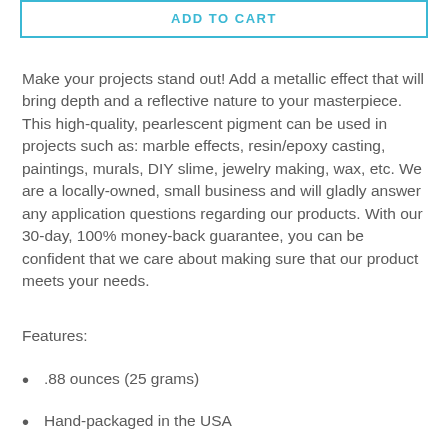ADD TO CART
Make your projects stand out! Add a metallic effect that will bring depth and a reflective nature to your masterpiece. This high-quality, pearlescent pigment can be used in projects such as: marble effects, resin/epoxy casting, paintings, murals, DIY slime, jewelry making, wax, etc. We are a locally-owned, small business and will gladly answer any application questions regarding our products. With our 30-day, 100% money-back guarantee, you can be confident that we care about making sure that our product meets your needs.
Features:
.88 ounces (25 grams)
Hand-packaged in the USA